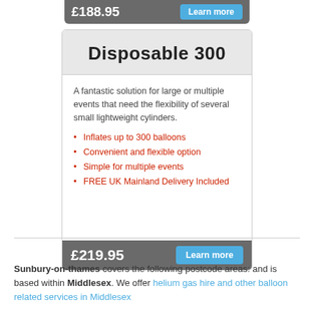Disposable 300
A fantastic solution for large or multiple events that need the flexibility of several small lightweight cylinders.
Inflates up to 300 balloons
Convenient and flexible option
Simple for multiple events
FREE UK Mainland Delivery Included
£219.95
Sunbury-on-thames covers the following postcode areas: and is based within Middlesex. We offer helium gas hire and other balloon related services in Middlesex